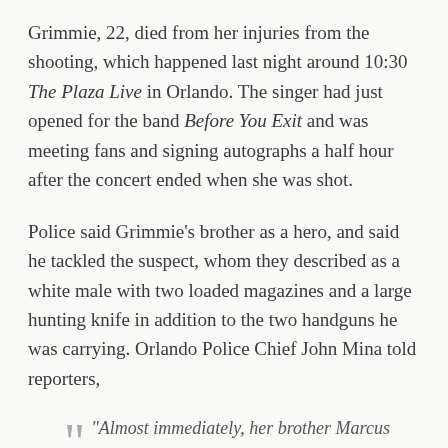Grimmie, 22, died from her injuries from the shooting, which happened last night around 10:30 The Plaza Live in Orlando. The singer had just opened for the band Before You Exit and was meeting fans and signing autographs a half hour after the concert ended when she was shot.
Police said Grimmie's brother as a hero, and said he tackled the suspect, whom they described as a white male with two loaded magazines and a large hunting knife in addition to the two handguns he was carrying. Orlando Police Chief John Mina told reporters,
"Almost immediately, her brother Marcus Grimmie tackled the